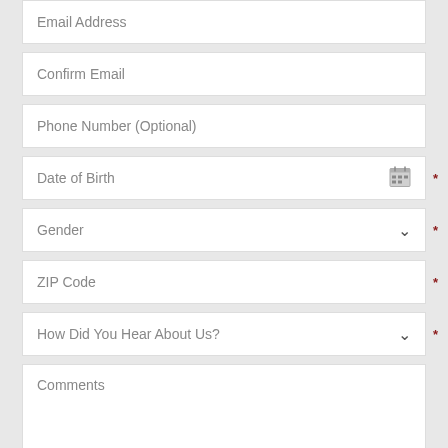Email Address
Confirm Email
Phone Number (Optional)
Date of Birth
Gender
ZIP Code
How Did You Hear About Us?
Comments
Check box to receive Bernstein Medical Newsletter